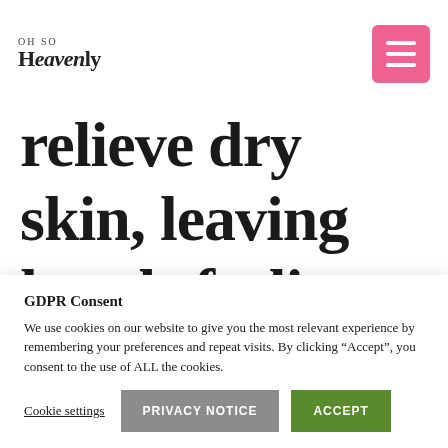Oh So Heavenly
relieve dry skin, leaving hands feeling smooth with a natural radiant glow. Embrace
GDPR Consent
We use cookies on our website to give you the most relevant experience by remembering your preferences and repeat visits. By clicking “Accept”, you consent to the use of ALL the cookies.
Cookie settings   PRIVACY NOTICE   ACCEPT